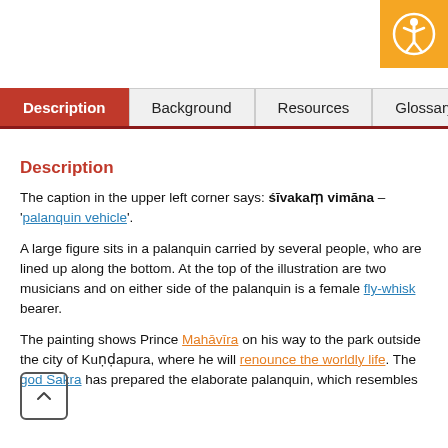[Figure (logo): Orange accessibility icon with person in circle, top-right corner]
Description | Background | Resources | Glossary
Description
The caption in the upper left corner says: śīvakaṃ vimāna – 'palanquin vehicle'.
A large figure sits in a palanquin carried by several people, who are lined up along the bottom. At the top of the illustration are two musicians and on either side of the palanquin is a female fly-whisk bearer.
The painting shows Prince Mahāvīra on his way to the park outside the city of Kuṇḍapura, where he will renounce the worldly life. The god Śakra has prepared the elaborate palanquin, which resembles